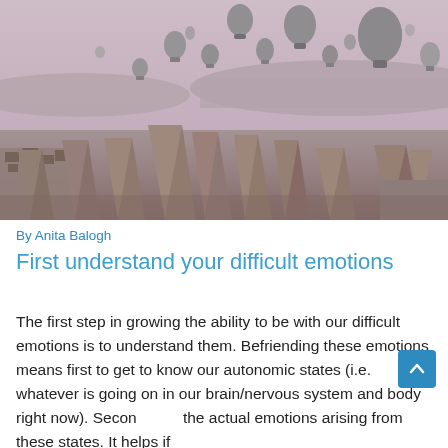[Figure (photo): Aerial landscape photograph of Cappadocia, Turkey at dawn/dusk showing numerous hot air balloons floating above distinctive rocky fairy chimney spires and ancient cave dwellings, with a pink-purple hazy sky in the background.]
By Anita Balogh
First understand your difficult emotions
The first step in growing the ability to be with our difficult emotions is to understand them. Befriending these emotions means first to get to know our autonomic states (i.e. whatever is going on in our brain/nervous system and body right now). Second, the actual emotions arising from these states. It helps if